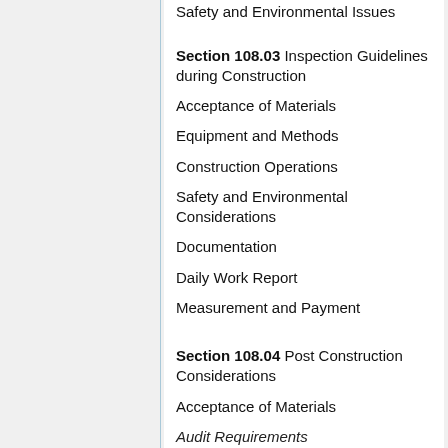Safety and Environmental Issues
Section 108.03 Inspection Guidelines during Construction
Acceptance of Materials
Equipment and Methods
Construction Operations
Safety and Environmental Considerations
Documentation
Daily Work Report
Measurement and Payment
Section 108.04 Post Construction Considerations
Acceptance of Materials
Audit Requirements